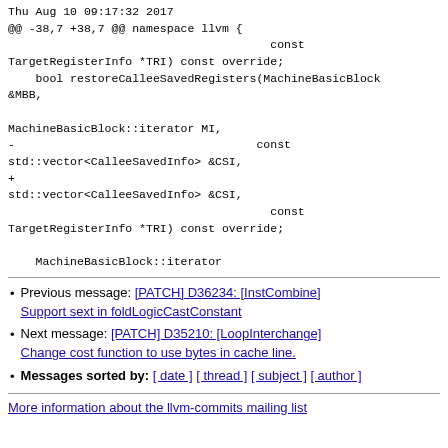Thu Aug 10 09:17:32 2017
@@ -38,7 +38,7 @@ namespace llvm {
                                      const
TargetRegisterInfo *TRI) const override;
    bool restoreCalleeSavedRegisters(MachineBasicBlock
&MBB,

MachineBasicBlock::iterator MI,
-                                   const
std::vector<CalleeSavedInfo> &CSI,
+
std::vector<CalleeSavedInfo> &CSI,
                                      const
TargetRegisterInfo *TRI) const override;

    MachineBasicBlock::iterator
Previous message: [PATCH] D36234: [InstCombine] Support sext in foldLogicCastConstant
Next message: [PATCH] D35210: [LoopInterchange] Change cost function to use bytes in cache line.
Messages sorted by: [ date ] [ thread ] [ subject ] [ author ]
More information about the llvm-commits mailing list